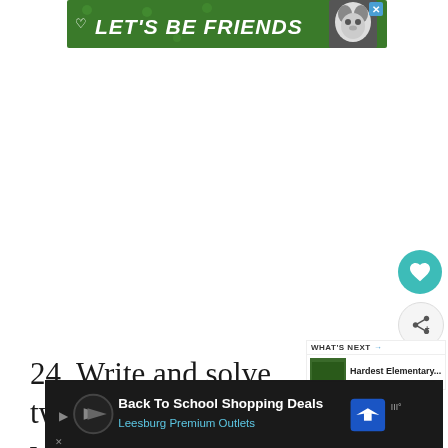[Figure (other): Green advertisement banner reading LET'S BE FRIENDS with a husky dog image]
24. Write and solve two, grade-approp… word problems that involves turkeys and/or
[Figure (other): Bottom advertisement banner for Back To School Shopping Deals at Leesburg Premium Outlets]